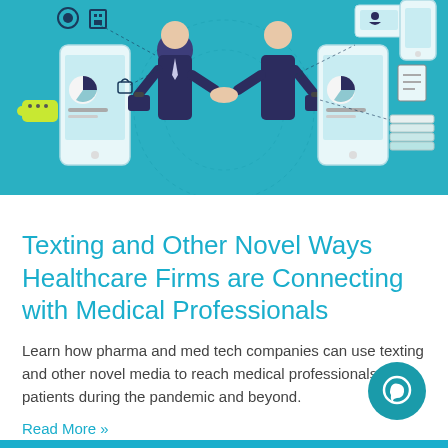[Figure (illustration): Digital health networking illustration showing two businesspeople shaking hands emerging from smartphone screens, surrounded by icons representing mobile devices, apps, data dashboards, and connectivity on a teal background.]
Texting and Other Novel Ways Healthcare Firms are Connecting with Medical Professionals
Learn how pharma and med tech companies can use texting and other novel media to reach medical professionals and patients during the pandemic and beyond.
Read More »